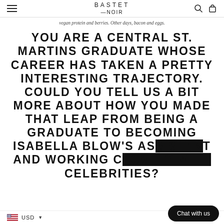BASTET NOIR
vegan protein and berries. Other days, bacon and eggs.
YOU ARE A CENTRAL ST. MARTINS GRADUATE WHOSE CAREER HAS TAKEN A PRETTY INTERESTING TRAJECTORY. COULD YOU TELL US A BIT MORE ABOUT HOW YOU MADE THAT LEAP FROM BEING A GRADUATE TO BECOMING ISABELLA BLOW'S AS... T AND WORKING ... CELEBRITIES?
USD